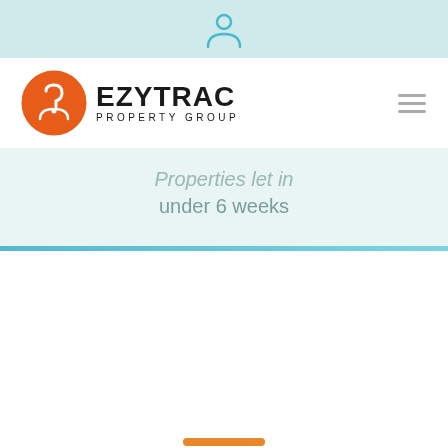[Figure (illustration): Light teal banner at top with a person/user icon in teal color]
[Figure (logo): Ezytrac Property Group logo with orange circle containing a stylized 'e' arrow icon and bold sans-serif text EZYTRAC PROPERTY GROUP]
[Figure (illustration): Hamburger menu icon (three horizontal lines) in gray on the right side of the navigation bar]
Properties let in under 6 weeks
[Figure (illustration): Thin horizontal blue/teal divider line]
[Figure (illustration): Two partial orange rounded bars visible at the bottom of the page]